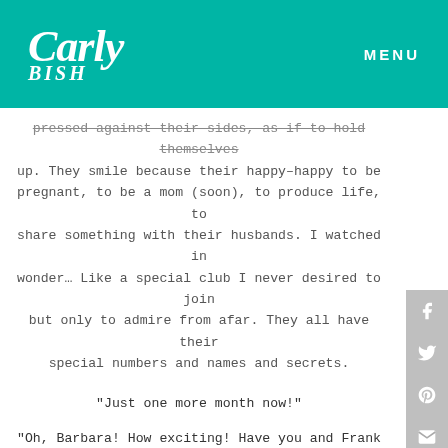Carly Bish — MENU
pressed against their sides, as if to hold themselves up. They smile because their happy–happy to be pregnant, to be a mom (soon), to produce life, to share something with their husbands. I watched in wonder… Like a special club I never desired to join but only to admire from afar. They all have their special numbers and names and secrets.
“Just one more month now!”
“Oh, Barbara! How exciting! Have you and Frank picked out a name yet?”
“Oh no… We’ve decided to wait. We don’t even know if it’s a boy or a girl.”
“Oh! I could never do that! Sandy, could you ever do that?”